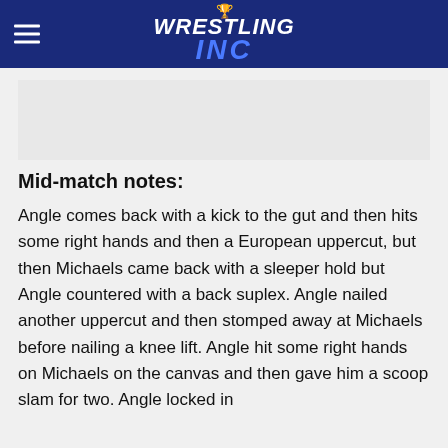Wrestling Inc
Mid-match notes:
Angle comes back with a kick to the gut and then hits some right hands and then a European uppercut, but then Michaels came back with a sleeper hold but Angle countered with a back suplex. Angle nailed another uppercut and then stomped away at Michaels before nailing a knee lift. Angle hit some right hands on Michaels on the canvas and then gave him a scoop slam for two. Angle locked in